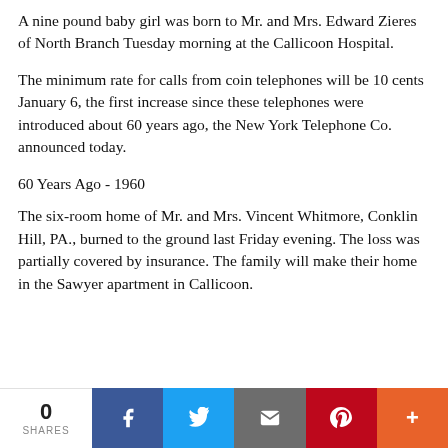A nine pound baby girl was born to Mr. and Mrs. Edward Zieres of North Branch Tuesday morning at the Callicoon Hospital.
The minimum rate for calls from coin telephones will be 10 cents January 6, the first increase since these telephones were introduced about 60 years ago, the New York Telephone Co. announced today.
60 Years Ago - 1960
The six-room home of Mr. and Mrs. Vincent Whitmore, Conklin Hill, PA., burned to the ground last Friday evening. The loss was partially covered by insurance. The family will make their home in the Sawyer apartment in Callicoon.
0 SHARES | Facebook | Twitter | Email | Pinterest | More